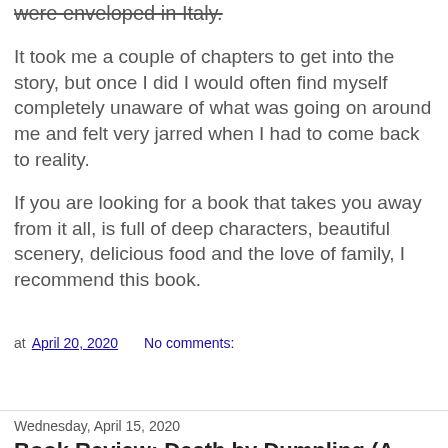were enveloped in Italy.
It took me a couple of chapters to get into the story, but once I did I would often find myself completely unaware of what was going on around me and felt very jarred when I had to come back to reality.
If you are looking for a book that takes you away from it all, is full of deep characters, beautiful scenery, delicious food and the love of family, I recommend this book.
at April 20, 2020    No comments:
Share
Wednesday, April 15, 2020
Book Review: Death by Dumpling (A